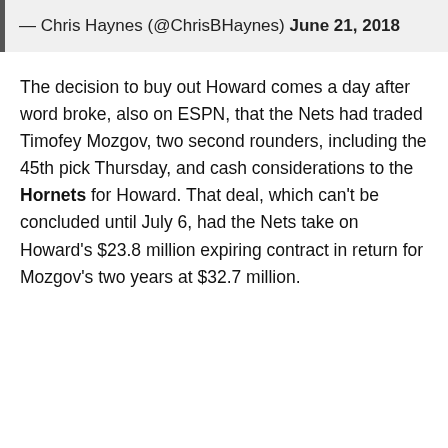— Chris Haynes (@ChrisBHaynes) June 21, 2018
The decision to buy out Howard comes a day after word broke, also on ESPN, that the Nets had traded Timofey Mozgov, two second rounders, including the 45th pick Thursday, and cash considerations to the Hornets for Howard. That deal, which can't be concluded until July 6, had the Nets take on Howard's $23.8 million expiring contract in return for Mozgov's two years at $32.7 million.